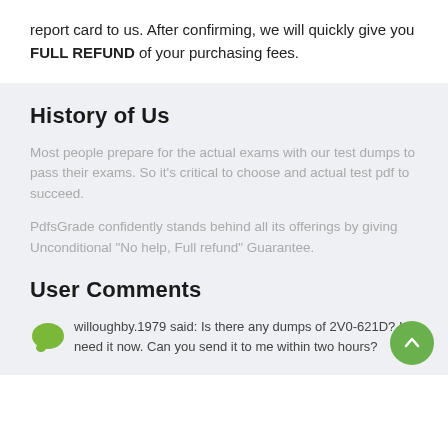report card to us. After confirming, we will quickly give you FULL REFUND of your purchasing fees.
History of Us
Most people prepare for the actual exams with our test dumps to pass their exams. So it's critical to choose and actual test pdf to succeed.
PdfsGrade confidently stands behind all its offerings by giving Unconditional "No help, Full refund" Guarantee.
User Comments
willoughby.1979 said: Is there any dumps of 2V0-621D? I need it now. Can you send it to me within two hours?